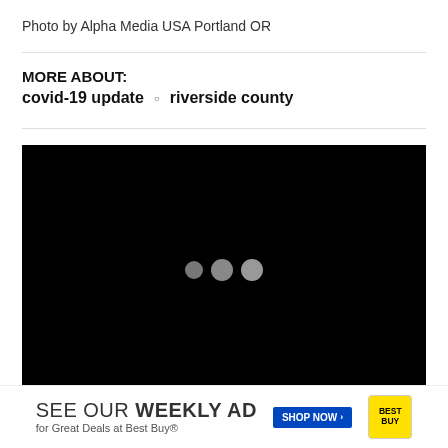Photo by Alpha Media USA Portland OR
MORE ABOUT:
covid-19 update  ○  riverside county
[Figure (screenshot): Black video player loading screen with three grey loading indicator dots in the center]
[Figure (infographic): Best Buy advertisement banner: SEE OUR WEEKLY AD for Great Deals at Best Buy® with SHOP NOW button and Best Buy logo]